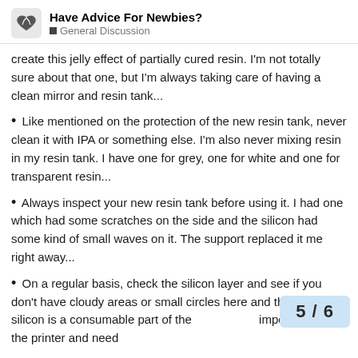Have Advice For Newbies? — General Discussion
create this jelly effect of partially cured resin. I'm not totally sure about that one, but I'm always taking care of having a clean mirror and resin tank...
Like mentioned on the protection of the new resin tank, never clean it with IPA or something else. I'm also never mixing resin in my resin tank. I have one for grey, one for white and one for transparent resin...
Always inspect your new resin tank before using it. I had one which had some scratches on the side and the silicon had some kind of small waves on it. The support replaced it me right away...
On a regular basis, check the silicon layer and see if you don't have cloudy areas or small circles here and there. This silicon is a consumable part of the important part of the printer and need
5 / 6